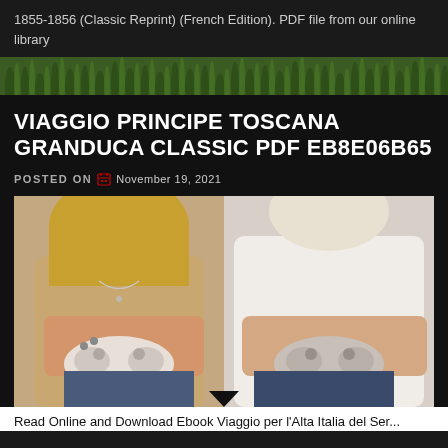1855-1856 (Classic Reprint) (French Edition). PDF file from our online library
[Figure (illustration): Decorative grass/foliage banner divider]
VIAGGIO PRINCIPE TOSCANA GRANDUCA CLASSIC PDF EB8E06B65
Posted on November 19, 2021
[Figure (photo): Two people sitting side by side holding video game controllers, photographed from the waist down]
Read Online and Download Ebook Viaggio per l'Alta Italia del Ser...